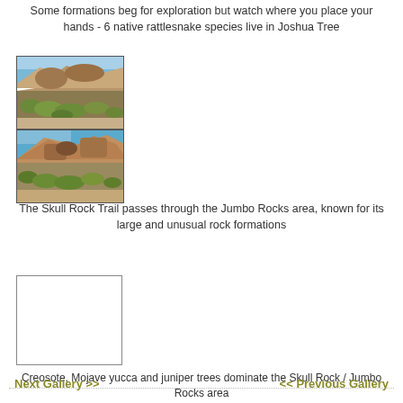Some formations beg for exploration but watch where you place your hands - 6 native rattlesnake species live in Joshua Tree
[Figure (photo): Two stacked photos of rocky desert formations with desert shrubs and brush in the foreground, clear blue sky above. Shows the Jumbo Rocks area of Joshua Tree National Park.]
The Skull Rock Trail passes through the Jumbo Rocks area, known for its large and unusual rock formations
[Figure (photo): A photo placeholder box (white/empty) representing an image of the Skull Rock / Jumbo Rocks area vegetation.]
Creosote, Mojave yucca and juniper trees dominate the Skull Rock / Jumbo Rocks area
Next Gallery >> << Previous Gallery